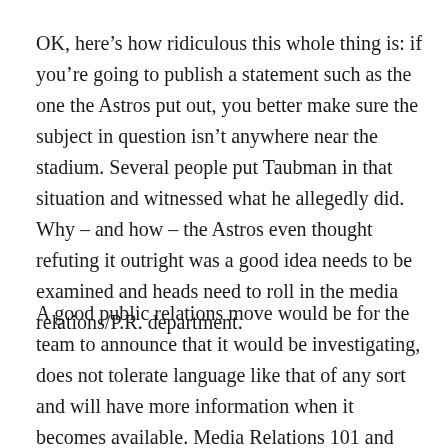OK, here's how ridiculous this whole thing is: if you're going to publish a statement such as the one the Astros put out, you better make sure the subject in question isn't anywhere near the stadium. Several people put Taubman in that situation and witnessed what he allegedly did. Why – and how – the Astros even thought refuting it outright was a good idea needs to be examined and heads need to roll in the media relations/P.R. department.
A good public relations move would be for the team to announce that it would be investigating, does not tolerate language like that of any sort and will have more information when it becomes available. Media Relations 101 and something even you could write.